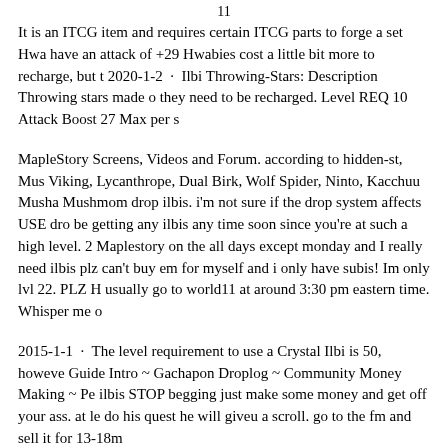11
It is an ITCG item and requires certain ITCG parts to forge a set Hwa have an attack of +29 Hwabies cost a little bit more to recharge, but t 2020-1-2 · Ilbi Throwing-Stars: Description Throwing stars made o they need to be recharged. Level REQ 10 Attack Boost 27 Max per s
MapleStory Screens, Videos and Forum. according to hidden-st, Mus Viking, Lycanthrope, Dual Birk, Wolf Spider, Ninto, Kacchuu Musha Mushmom drop ilbis. i'm not sure if the drop system affects USE dro be getting any ilbis any time soon since you're at such a high level. 2 Maplestory on the all days except monday and I really need ilbis plz can't buy em for myself and i only have subis! Im only lvl 22. PLZ H usually go to world11 at around 3:30 pm eastern time. Whisper me o
2015-1-1 · The level requirement to use a Crystal Ilbi is 50, howeve Guide Intro ~ Gachapon Droplog ~ Community Money Making ~ Pe ilbis STOP begging just make some money and get off your ass. at le do his quest he will giveu a scroll. go to the fm and sell it for 13-18m